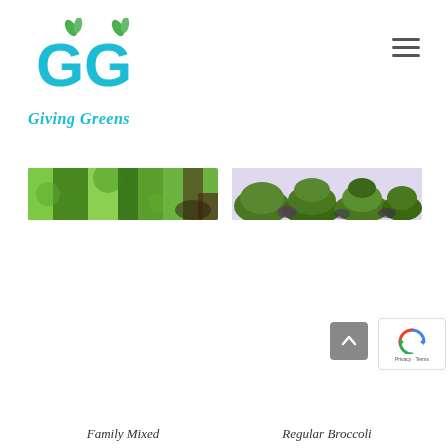[Figure (logo): Giving Greens logo: two stylized G letters in cyan/teal with green leaf accents, and the text 'Giving Greens' in teal italic script below]
[Figure (photo): Horizontal banner photo of mixed leafy greens — dense green leaves with some purple/dark accents]
[Figure (photo): Horizontal banner photo of broccoli heads — pale lavender background with dark green broccoli florets and purple accents]
Family Mixed
Regular Broccoli